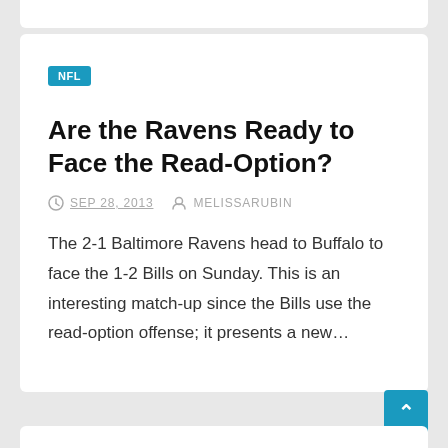NFL
Are the Ravens Ready to Face the Read-Option?
SEP 28, 2013   MELISSARUBIN
The 2-1 Baltimore Ravens head to Buffalo to face the 1-2 Bills on Sunday. This is an interesting match-up since the Bills use the read-option offense; it presents a new...